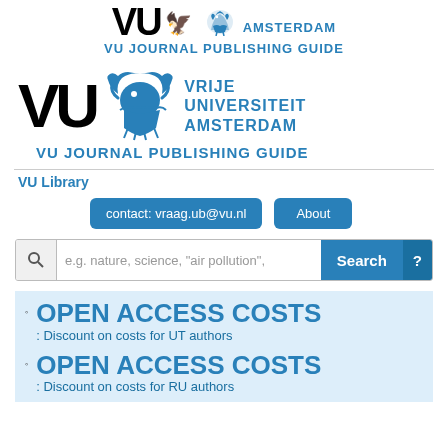[Figure (logo): VU Amsterdam logo small at top with griffin icon and AMSTERDAM text in blue]
VU JOURNAL PUBLISHING GUIDE
[Figure (logo): Large VU Amsterdam logo with griffin and VRIJE UNIVERSITEIT AMSTERDAM text in blue]
VU JOURNAL PUBLISHING GUIDE
VU Library
contact: vraag.ub@vu.nl
About
e.g. nature, science, "air pollution",
OPEN ACCESS COSTS : Discount on costs for UT authors
OPEN ACCESS COSTS : Discount on costs for RU authors